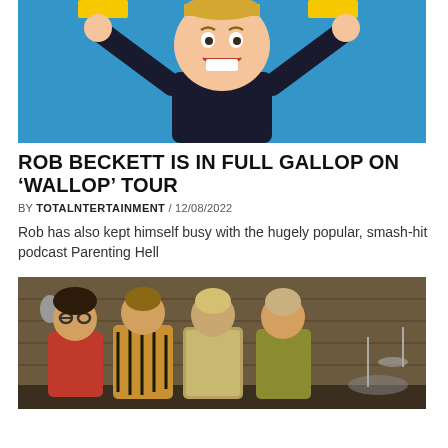[Figure (photo): Man with large comically oversized head with arms raised wide against a blue background, promotional image for 'Wallop' tour]
ROB BECKETT IS IN FULL GALLOP ON 'WALLOP' TOUR
BY TOTALNTERTAINMENT / 12/08/2022
Rob has also kept himself busy with the hugely popular, smash-hit podcast Parenting Hell
[Figure (photo): Four people in 1970s-style clothing standing together, appears to be a band photo with vintage aesthetic]